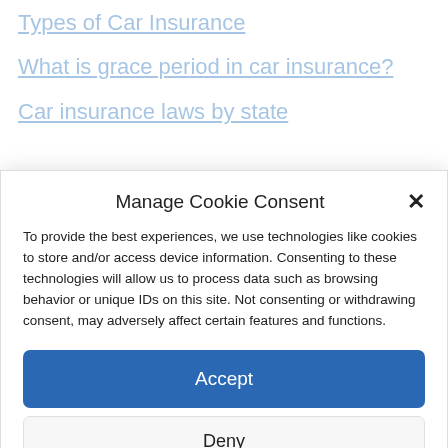Types of Car Insurance
What is grace period in car insurance?
Car insurance laws by state
Manage Cookie Consent
To provide the best experiences, we use technologies like cookies to store and/or access device information. Consenting to these technologies will allow us to process data such as browsing behavior or unique IDs on this site. Not consenting or withdrawing consent, may adversely affect certain features and functions.
Accept
Deny
View preferences
Cookie Policy